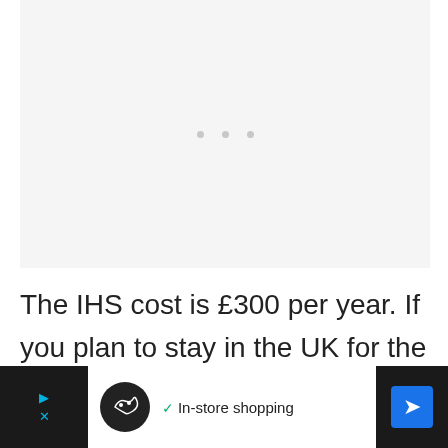[Figure (other): Loading placeholder with three grey dots on light grey background]
The IHS cost is £300 per year. If you plan to stay in the UK for the entire duration of your tier 5 visa (2 years), you will be required to pay £6...
[Figure (other): Advertisement banner: In-store shopping with navigation arrow icon]